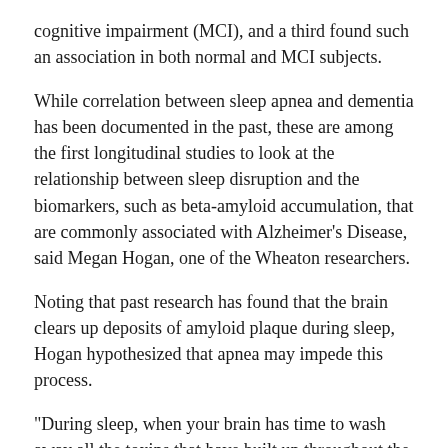cognitive impairment (MCI), and a third found such an association in both normal and MCI subjects.
While correlation between sleep apnea and dementia has been documented in the past, these are among the first longitudinal studies to look at the relationship between sleep disruption and the biomarkers, such as beta-amyloid accumulation, that are commonly associated with Alzheimer's Disease, said Megan Hogan, one of the Wheaton researchers.
Noting that past research has found that the brain clears up deposits of amyloid plaque during sleep, Hogan hypothesized that apnea may impede this process.
"During sleep, when your brain has time to wash away all the toxins that have built up throughout the day, continually interrupting sleep may give it less time to do that," she said.